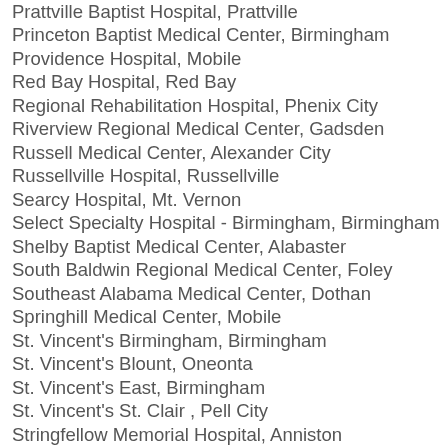Prattville Baptist Hospital, Prattville
Princeton Baptist Medical Center, Birmingham
Providence Hospital, Mobile
Red Bay Hospital, Red Bay
Regional Rehabilitation Hospital, Phenix City
Riverview Regional Medical Center, Gadsden
Russell Medical Center, Alexander City
Russellville Hospital, Russellville
Searcy Hospital, Mt. Vernon
Select Specialty Hospital - Birmingham, Birmingham
Shelby Baptist Medical Center, Alabaster
South Baldwin Regional Medical Center, Foley
Southeast Alabama Medical Center, Dothan
Springhill Medical Center, Mobile
St. Vincent's Birmingham, Birmingham
St. Vincent's Blount, Oneonta
St. Vincent's East, Birmingham
St. Vincent's St. Clair , Pell City
Stringfellow Memorial Hospital, Anniston
Taylor Hardin Secure Medical Facility, Tuscaloosa
Thomas Hospital, Fairhope
Trinity Medical Center, Birmingham
Troy Regional Medical Center, Troy